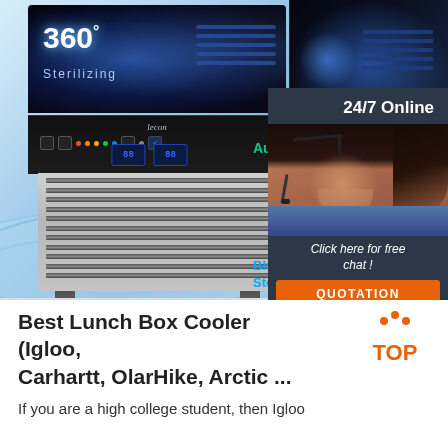[Figure (photo): Product advertisement image showing a commercial ice maker machine (lecon brand) with blue UV sterilization display showing '360° Sterilizing', a stainless steel grille body with control panel, and right-side panels showing additional product views. Overlaid chat widget showing '24/7 Online' with female customer service agent wearing headset, 'Click here for free chat!' text, and orange 'QUOTATION' button. Also shows 'Auto C...' and 'Blue Ster...' text labels partially visible.]
Best Lunch Box Cooler (Igloo, Carhartt, OlarHike, Arctic ...
[Figure (logo): TOP badge logo with orange dots arranged in arc above orange 'TOP' text]
If you are a high college student, then Igloo